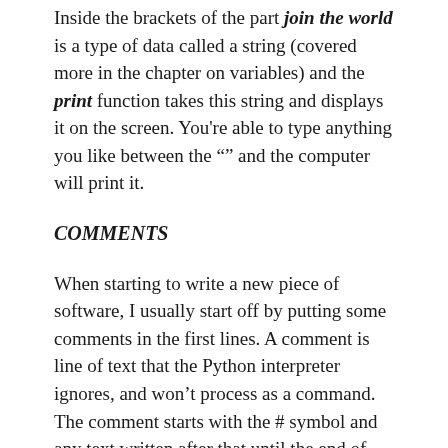Inside the brackets of the part 'join the world' is a type of data called a string (covered more in the chapter on variables) and the print function takes this string and displays it on the screen. You're able to type anything you like between the "" and the computer will print it.
COMMENTS
When starting to write a new piece of software, I usually start off by putting some comments in the first lines. A comment is line of text that the Python interpreter ignores, and won't process as a command. The comment starts with the # symbol and any text written after that until the end of the line is ignored by the computer.
# first program created on 2019.03.13